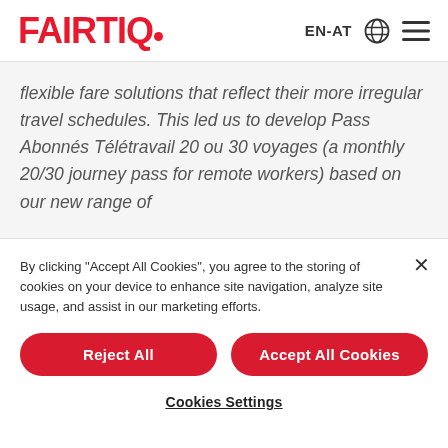[Figure (logo): FAIRTIQ logo in red bold text with a small red dot after the Q, followed by EN-AT globe icon and hamburger menu icon on the right]
flexible fare solutions that reflect their more irregular travel schedules. This led us to develop Pass Abonnés Télétravail 20 ou 30 voyages (a monthly 20/30 journey pass for remote workers) based on our new range of
By clicking "Accept All Cookies", you agree to the storing of cookies on your device to enhance site navigation, analyze site usage, and assist in our marketing efforts.
Reject All
Accept All Cookies
Cookies Settings